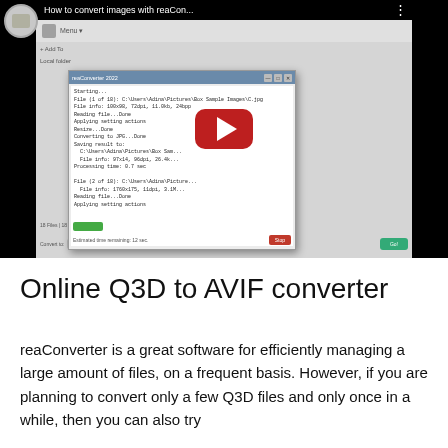[Figure (screenshot): YouTube video thumbnail showing a software application (reaConverter) with a dialog box displaying file processing log text, a green progress bar, and a red Stop button. The video has a red YouTube play button overlay. Title text reads 'How to convert images with reaCon...' with a three-dot menu icon.]
Online Q3D to AVIF converter
reaConverter is a great software for efficiently managing a large amount of files, on a frequent basis. However, if you are planning to convert only a few Q3D files and only once in a while, then you can also try